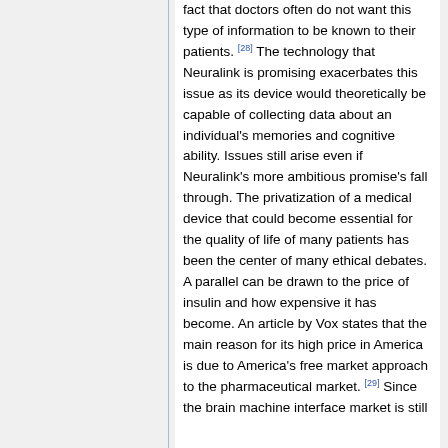fact that doctors often do not want this type of information to be known to their patients. [28] The technology that Neuralink is promising exacerbates this issue as its device would theoretically be capable of collecting data about an individual's memories and cognitive ability. Issues still arise even if Neuralink's more ambitious promise's fall through. The privatization of a medical device that could become essential for the quality of life of many patients has been the center of many ethical debates. A parallel can be drawn to the price of insulin and how expensive it has become. An article by Vox states that the main reason for its high price in America is due to America's free market approach to the pharmaceutical market. [29] Since the brain machine interface market is still